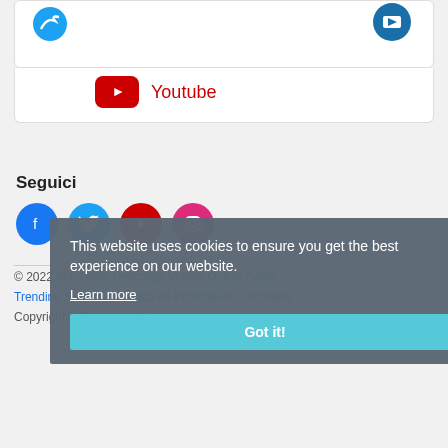[Figure (screenshot): Top portion of a social media card showing partial Twitter and another icon at top, and YouTube icon with label]
Youtube
Seguici
[Figure (infographic): Row of circular social media icons: Facebook (blue), Twitter (light blue), YouTube (red), Instagram (pink/red)]
This website uses cookies to ensure you get the best experience on our website. Learn more
Got it!
© 2022 M-p4.com Descarga Videos Online Gratis
Trending Stories   Politica de Privacidad   Terminos   Copyright   Contacto   Lingua